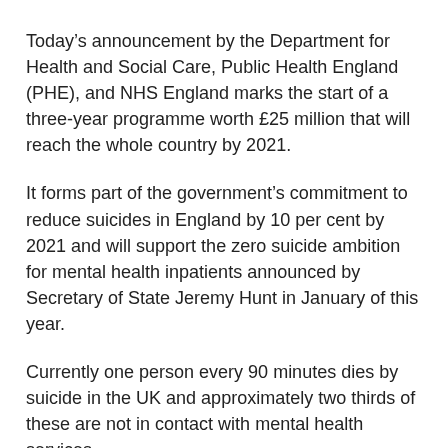Today’s announcement by the Department for Health and Social Care, Public Health England (PHE), and NHS England marks the start of a three-year programme worth £25 million that will reach the whole country by 2021.
It forms part of the government’s commitment to reduce suicides in England by 10 per cent by 2021 and will support the zero suicide ambition for mental health inpatients announced by Secretary of State Jeremy Hunt in January of this year.
Currently one person every 90 minutes dies by suicide in the UK and approximately two thirds of these are not in contact with mental health services.
Lancashire and South Cumbria is one of eight regions